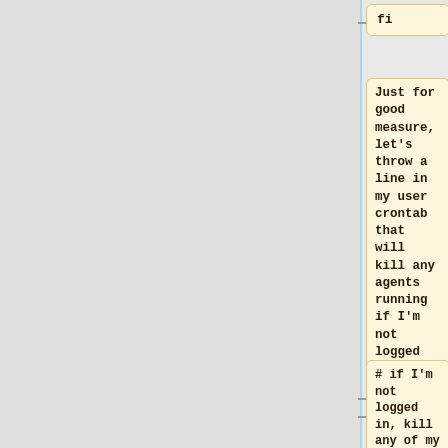fi
Just for good measure, let's throw a line in my user crontab that will kill any agents running if I'm not logged in:
# if I'm not logged in, kill any of my running ssh-agents